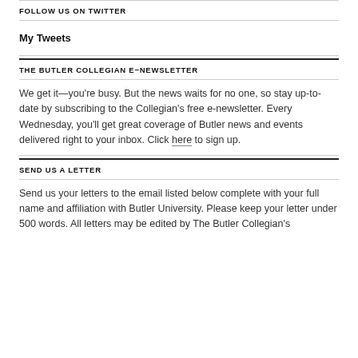FOLLOW US ON TWITTER
My Tweets
THE BUTLER COLLEGIAN E-NEWSLETTER
We get it—you're busy. But the news waits for no one, so stay up-to-date by subscribing to the Collegian's free e-newsletter. Every Wednesday, you'll get great coverage of Butler news and events delivered right to your inbox. Click here to sign up.
SEND US A LETTER
Send us your letters to the email listed below complete with your full name and affiliation with Butler University. Please keep your letter under 500 words. All letters may be edited by The Butler Collegian's